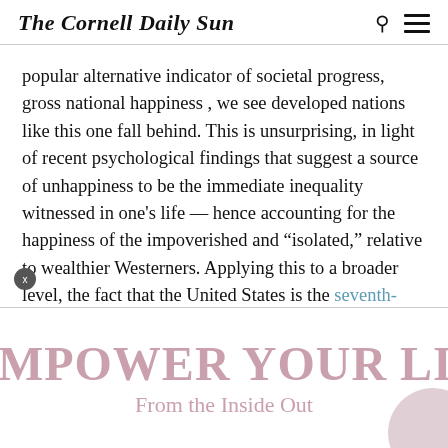The Cornell Daily Sun
popular alternative indicator of societal progress, gross national happiness , we see developed nations like this one fall behind. This is unsurprising, in light of recent psychological findings that suggest a source of unhappiness to be the immediate inequality witnessed in one's life — hence accounting for the happiness of the impoverished and “isolated,” relative to wealthier Westerners. Applying this to a broader level, the fact that the United States is the seventh-most unequal country in the world, alongside other startlingly-unequal societies like post-Soviet Russia and caste-system India, ought to deeply trouble advocates of this nation’s trajectory.
[Figure (infographic): Advertisement banner reading 'EMPOWER YOUR LIFE' and 'From the Inside Out' in rose/mauve color with a decorative circle graphic]